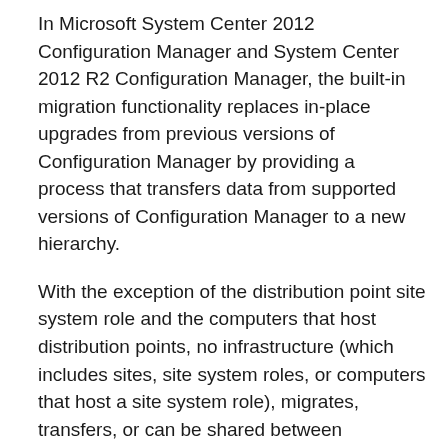In Microsoft System Center 2012 Configuration Manager and System Center 2012 R2 Configuration Manager, the built-in migration functionality replaces in-place upgrades from previous versions of Configuration Manager by providing a process that transfers data from supported versions of Configuration Manager to a new hierarchy.
With the exception of the distribution point site system role and the computers that host distribution points, no infrastructure (which includes sites, site system roles, or computers that host a site system role), migrates, transfers, or can be shared between hierarchies.
Although you cannot migrate server infrastructure, you can migrate Configuration Manager clients between hierarchies. Client migration involves migrating the data that clients use from the source hierarchy to the destination hierarchy, and then installing or reassigning the client software so that the